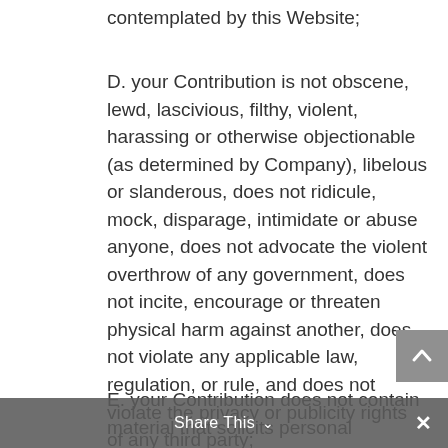contemplated by this Website;
D. your Contribution is not obscene, lewd, lascivious, filthy, violent, harassing or otherwise objectionable (as determined by Company), libelous or slanderous, does not ridicule, mock, disparage, intimidate or abuse anyone, does not advocate the violent overthrow of any government, does not incite, encourage or threaten physical harm against another, does not violate any applicable law, regulation, or rule, and does not violate the privacy or publicity rights of any third party;
E. your Contribution does not contain material that solicits personal information from anyone under 18 or exploit people under the age of 18 in a sexual or violent manner, and does not violate any federal or state law concerning child pornography